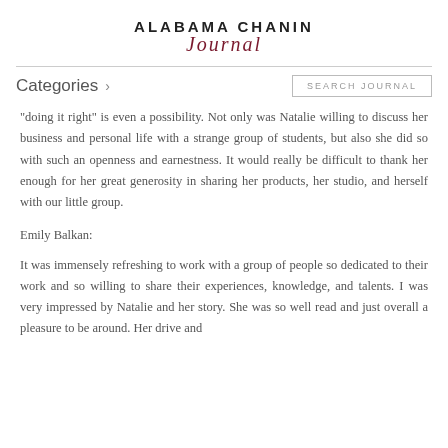ALABAMA CHANIN Journal
"doing it right" is even a possibility. Not only was Natalie willing to discuss her business and personal life with a strange group of students, but also she did so with such an openness and earnestness. It would really be difficult to thank her enough for her great generosity in sharing her products, her studio, and herself with our little group.
Emily Balkan:
It was immensely refreshing to work with a group of people so dedicated to their work and so willing to share their experiences, knowledge, and talents. I was very impressed by Natalie and her story. She was so well read and just overall a pleasure to be around. Her drive and